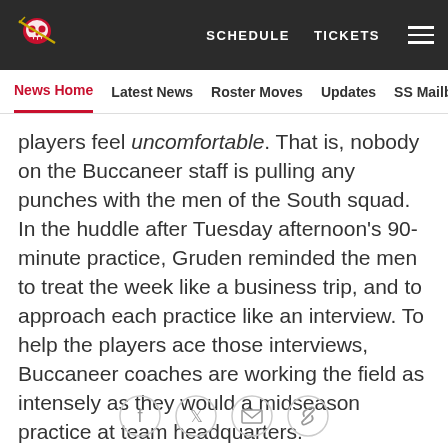SCHEDULE   TICKETS   ☰
News Home  Latest News  Roster Moves  Updates  SS Mailbag
players feel uncomfortable. That is, nobody on the Buccaneer staff is pulling any punches with the men of the South squad. In the huddle after Tuesday afternoon's 90-minute practice, Gruden reminded the men to treat the week like a business trip, and to approach each practice like an interview. To help the players ace those interviews, Buccaneer coaches are working the field as intensely as they would a midseason practice at team headquarters.
The players not only notice this, they appreciate it.
"This coaching staff? I'll tell you what: They're